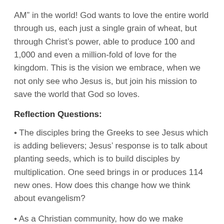AM” in the world! God wants to love the entire world through us, each just a single grain of wheat, but through Christ’s power, able to produce 100 and 1,000 and even a million-fold of love for the kingdom. This is the vision we embrace, when we not only see who Jesus is, but join his mission to save the world that God so loves.
Reflection Questions:
• The disciples bring the Greeks to see Jesus which is adding believers; Jesus’ response is to talk about planting seeds, which is to build disciples by multiplication. One seed brings in or produces 114 new ones. How does this change how we think about evangelism?
• As a Christian community, how do we make disciples who make disciples?
• What is it about your relationship with Jesus that has made a difference in your life? When have you